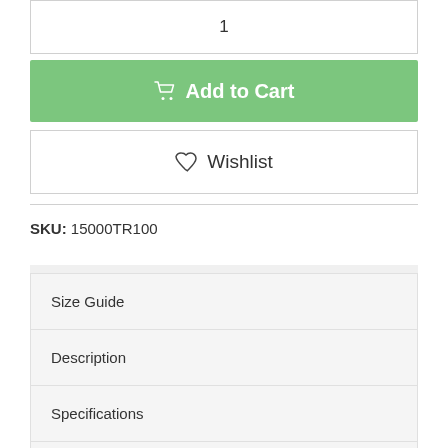1
Add to Cart
Wishlist
SKU: 15000TR100
Size Guide
Description
Specifications
Reviews ☆ ☆ ☆ ☆ ☆